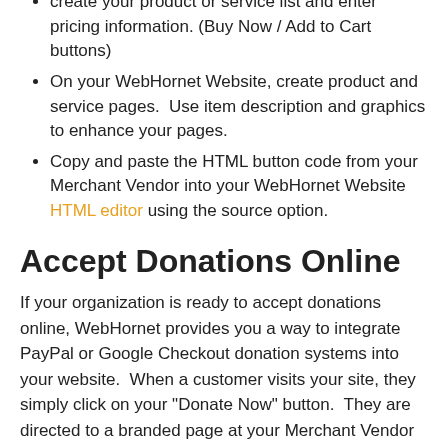create your product or service list and enter pricing information. (Buy Now / Add to Cart buttons)
On your WebHornet Website, create product and service pages.  Use item description and graphics to enhance your pages.
Copy and paste the HTML button code from your Merchant Vendor into your WebHornet Website HTML editor using the source option.
Accept Donations Online
If your organization is ready to accept donations online, WebHornet provides you a way to integrate PayPal or Google Checkout donation systems into your website.  When a customer visits your site, they simply click on your "Donate Now" button.  They are directed to a branded page at your Merchant Vendor for secure donation processing.  The customer is directed back to your site once the donation process is complete.